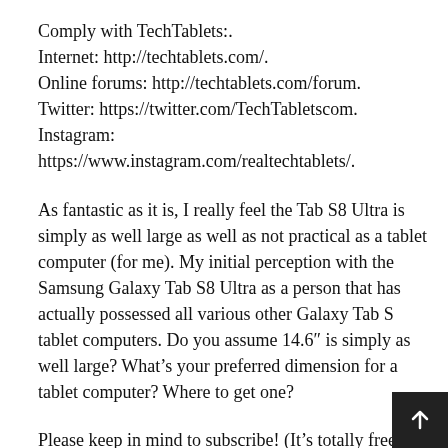Comply with TechTablets:.
Internet: http://techtablets.com/.
Online forums: http://techtablets.com/forum.
Twitter: https://twitter.com/TechTabletscom.
Instagram:
https://www.instagram.com/realtechtablets/.
As fantastic as it is, I really feel the Tab S8 Ultra is simply as well large as well as not practical as a tablet computer (for me). My initial perception with the Samsung Galaxy Tab S8 Ultra as a person that has actually possessed all various other Galaxy Tab S tablet computers. Do you assume 14.6″ is simply as well large? What’s your preferred dimension for a tablet computer? Where to get one?
Please keep in mind to subscribe! (It’s totally free) http://youtube.com/techtablets?sub_confirmation=